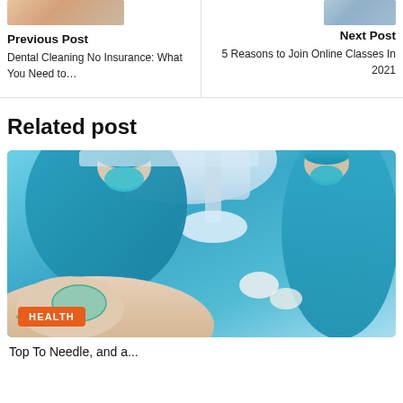Previous Post
Dental Cleaning No Insurance: What You Need to…
Next Post
5 Reasons to Join Online Classes In 2021
Related post
[Figure (photo): Medical surgery scene: patient with oxygen mask, surgeons in blue surgical gowns and masks, operating room with surgical lamp overhead. HEALTH badge overlay at bottom left.]
Top To Needle, and a... [truncated]